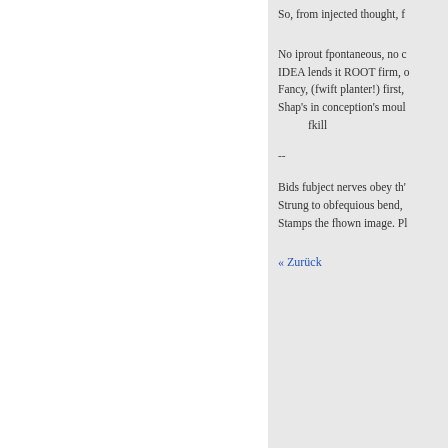So, from injected thought, f
No iprout fpontaneous, no c
IDEA lends it ROOT firm, o
Fancy, (fwift planter!) first,
Shap's in conception's moul
fkill
--
Bids fubject nerves obey th'
Strung to obfequious bend,
Stamps the fhown image. Pl
« Zurück